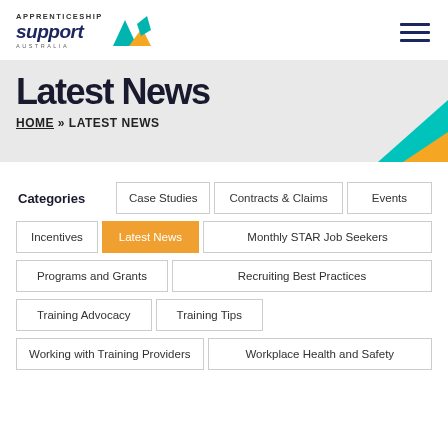Apprenticeship Support Australia
Latest News
HOME » LATEST NEWS
Categories
Case Studies
Contracts & Claims
Events
Incentives
Latest News
Monthly STAR Job Seekers
Programs and Grants
Recruiting Best Practices
Training Advocacy
Training Tips
Working with Training Providers
Workplace Health and Safety